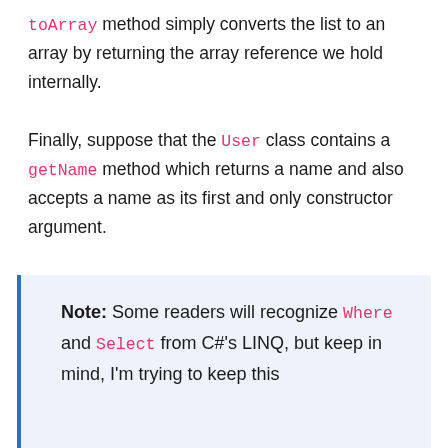toArray method simply converts the list to an array by returning the array reference we hold internally.
Finally, suppose that the User class contains a getName method which returns a name and also accepts a name as its first and only constructor argument.
Note: Some readers will recognize Where and Select from C#'s LINQ, but keep in mind, I'm trying to keep this